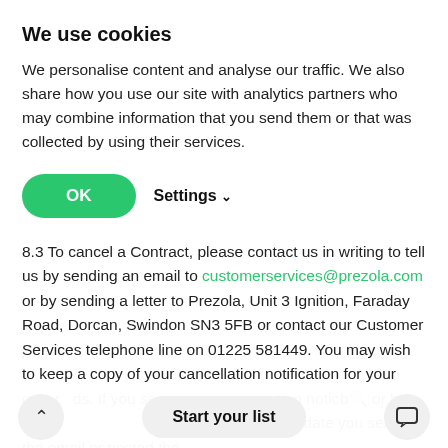We use cookies
We personalise content and analyse our traffic. We also share how you use our site with analytics partners who may combine information that you send them or that was collected by using their services.
8.3 To cancel a Contract, please contact us in writing to tell us by sending an email to customerservices@prezola.com or by sending a letter to Prezola, Unit 3 Ignition, Faraday Road, Dorcan, Swindon SN3 5FB or contact our Customer Services telephone line on 01225 581449. You may wish to keep a copy of your cancellation notification for your own records. If you send your cancellation notice by email or by post, cancellation is effective from the date you sent us the email or posted the